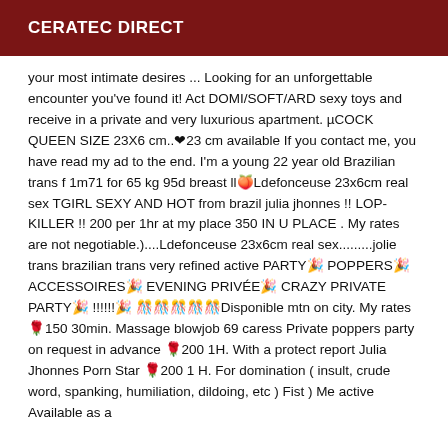CERATEC DIRECT
your most intimate desires ... Looking for an unforgettable encounter you've found it! Act DOMI/SOFT/ARD sexy toys and receive in a private and very luxurious apartment. µCOCK QUEEN SIZE 23X6 cm..❤23 cm available If you contact me, you have read my ad to the end. I'm a young 22 year old Brazilian trans f 1m71 for 65 kg 95d breast ll🍑Ldefonceuse 23x6cm real sex TGIRL SEXY AND HOT from brazil julia jhonnes !! LOP-KILLER !! 200 per 1hr at my place 350 IN U PLACE . My rates are not negotiable.)....Ldefonceuse 23x6cm real sex.........jolie trans brazilian trans very refined active PARTY🎉 POPPERS🎉 ACCESSOIRES🎉 EVENING PRIVÉE🎉 CRAZY PRIVATE PARTY🎉 !!!!!!🎉 🎊🎊🎊🎊🎊Disponible mtn on city. My rates 🌹150 30min. Massage blowjob 69 caress Private poppers party on request in advance 🌹200 1H. With a protect report Julia Jhonnes Porn Star 🌹200 1 H. For domination ( insult, crude word, spanking, humiliation, dildoing, etc ) Fist ) Me active Available as a